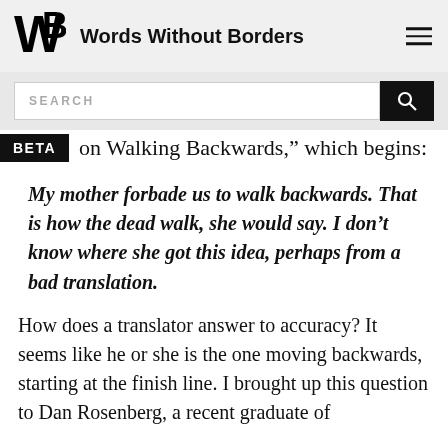Words Without Borders
on Walking Backwards," which begins:
My mother forbade us to walk backwards. That is how the dead walk, she would say. I don't know where she got this idea, perhaps from a bad translation.
How does a translator answer to accuracy? It seems like he or she is the one moving backwards, starting at the finish line. I brought up this question to Dan Rosenberg, a recent graduate of